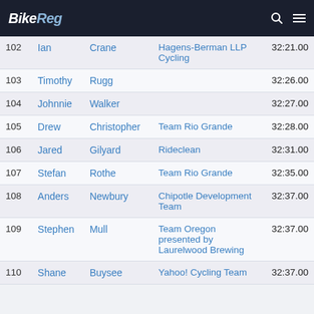BikeReg
| # | First | Last | Team | Time |
| --- | --- | --- | --- | --- |
| 102 | Ian | Crane | Hagens-Berman LLP Cycling | 32:21.00 |
| 103 | Timothy | Rugg |  | 32:26.00 |
| 104 | Johnnie | Walker |  | 32:27.00 |
| 105 | Drew | Christopher | Team Rio Grande | 32:28.00 |
| 106 | Jared | Gilyard | Rideclean | 32:31.00 |
| 107 | Stefan | Rothe | Team Rio Grande | 32:35.00 |
| 108 | Anders | Newbury | Chipotle Development Team | 32:37.00 |
| 109 | Stephen | Mull | Team Oregon presented by Laurelwood Brewing | 32:37.00 |
| 110 | Shane | Buysee | Yahoo! Cycling Team | 32:37.00 |